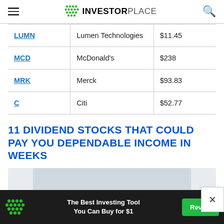INVESTORPLACE
| LUMN | Lumen Technologies | $11.45 |
| MCD | McDonald's | $238 |
| MRK | Merck | $93.83 |
| C | Citi | $52.77 |
11 DIVIDEND STOCKS THAT COULD PAY YOU DEPENDABLE INCOME IN WEEKS
[Figure (screenshot): Partial preview image below the title, appears to be a financial chart or article image, cropped at bottom]
The Best Investing Tool You Can Buy for $1  Reveal